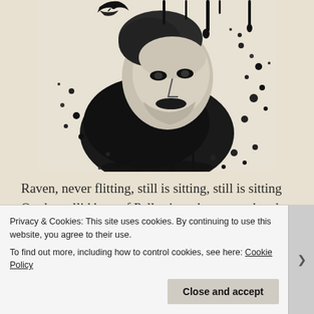[Figure (illustration): Black and white ink splatter illustration portrait of Edgar Allan Poe with a raven, dramatic dripping ink effect on light background]
Raven, never flitting, still is sitting, still is sitting
On the pallid bust of Pallas just above my chamber door;
And his eyes have all the seeming of a demon's that is
Privacy & Cookies: This site uses cookies. By continuing to use this website, you agree to their use.
To find out more, including how to control cookies, see here: Cookie Policy